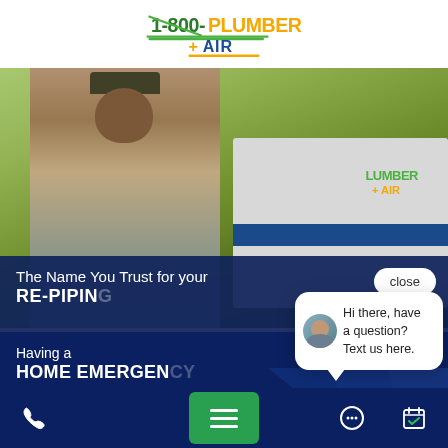[Figure (logo): 1-800-Plumber + AIR logo with green and yellow text and orange underline]
[Figure (photo): Smiling technician in uniform standing in front of a 1-800-Plumber + Air branded van with trees in background]
The Name You Trust for your RE-PIPING
[Figure (screenshot): Chat widget bubble with female avatar: Hi there, have a question? Text us here. With close button.]
Having a HOME EMERGENCY Call or Find Your Nearest Location!
[Figure (infographic): Bottom toolbar with phone icon, green menu button, chat bubble icon, and calendar icon]